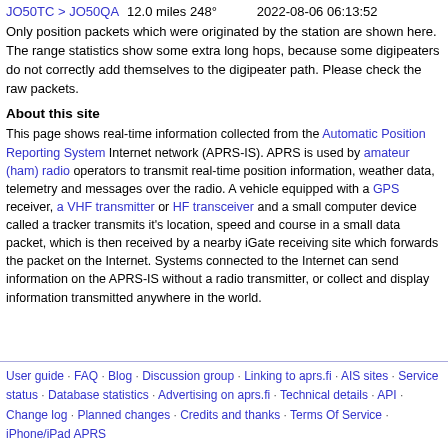JO50TC > JO50QA  12.0 miles 248°      2022-08-06 06:13:52
Only position packets which were originated by the station are shown here. The range statistics show some extra long hops, because some digipeaters do not correctly add themselves to the digipeater path. Please check the raw packets.
About this site
This page shows real-time information collected from the Automatic Position Reporting System Internet network (APRS-IS). APRS is used by amateur (ham) radio operators to transmit real-time position information, weather data, telemetry and messages over the radio. A vehicle equipped with a GPS receiver, a VHF transmitter or HF transceiver and a small computer device called a tracker transmits it's location, speed and course in a small data packet, which is then received by a nearby iGate receiving site which forwards the packet on the Internet. Systems connected to the Internet can send information on the APRS-IS without a radio transmitter, or collect and display information transmitted anywhere in the world.
User guide · FAQ · Blog · Discussion group · Linking to aprs.fi · AIS sites · Service status · Database statistics · Advertising on aprs.fi · Technical details · API · Change log · Planned changes · Credits and thanks · Terms Of Service · iPhone/iPad APRS